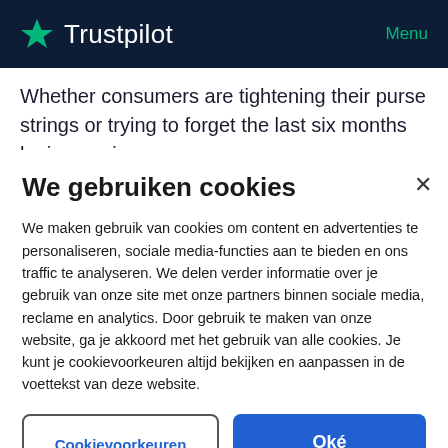Trustpilot — Menu
Whether consumers are tightening their purse strings or trying to forget the last six months by immersing
We gebruiken cookies
We maken gebruik van cookies om content en advertenties te personaliseren, sociale media-functies aan te bieden en ons traffic te analyseren. We delen verder informatie over je gebruik van onze site met onze partners binnen sociale media, reclame en analytics. Door gebruik te maken van onze website, ga je akkoord met het gebruik van alle cookies. Je kunt je cookievoorkeuren altijd bekijken en aanpassen in de voettekst van deze website.
Cookievoorkeuren
Oké